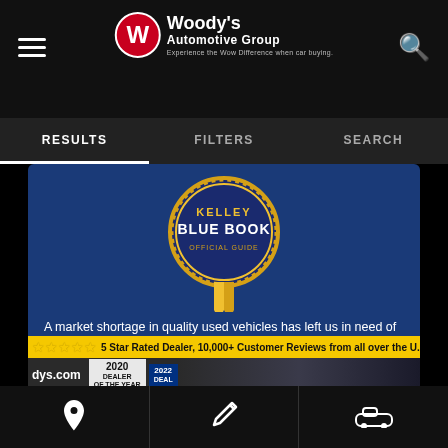Woody's Automotive Group – Experience the Wow Difference when car buying.
RESULTS   FILTERS   SEARCH
[Figure (logo): Kelley Blue Book Official Guide badge/seal in gold and blue]
A market shortage in quality used vehicles has left us in need of vehicles possibly like yours. As you know, we don't have sales or gimmicks we're just looking for good vehicles we can resell. We pay cash on the spot today. No purchase necessary. To get started just click here and answer a few questions and you will get an instant offer to buy your vehicle for cash today or just come in and see us today!
[Figure (screenshot): 5 Star Rated Dealer, 10,000+ Customer Reviews from all over the U.S.A! banner with gold stars, dys.com logo, 2020 Dealer of the Year badge, 2022 Dealer badge, and partial car image]
Location icon | Wrench/Service icon | Car icon